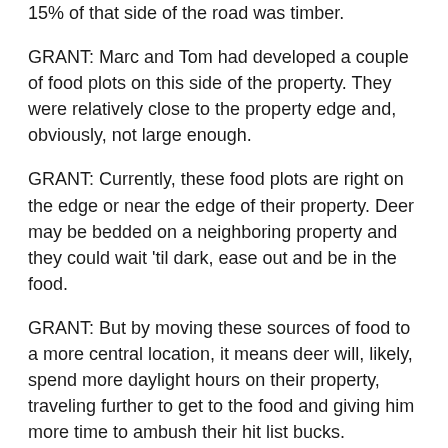15% of that side of the road was timber.
GRANT: Marc and Tom had developed a couple of food plots on this side of the property. They were relatively close to the property edge and, obviously, not large enough.
GRANT: Currently, these food plots are right on the edge or near the edge of their property. Deer may be bedded on a neighboring property and they could wait 'til dark, ease out and be in the food.
GRANT: But by moving these sources of food to a more central location, it means deer will, likely, spend more daylight hours on their property, traveling further to get to the food and giving him more time to ambush their hit list bucks.
GRANT: In addition to expanding the acreage of forage and moving it to the center, we designed some travel corridors we planted with mile...